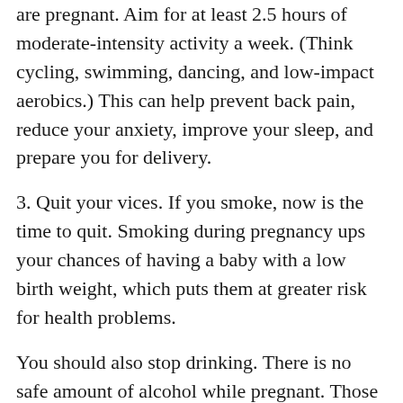are pregnant. Aim for at least 2.5 hours of moderate-intensity activity a week. (Think cycling, swimming, dancing, and low-impact aerobics.) This can help prevent back pain, reduce your anxiety, improve your sleep, and prepare you for delivery.
3. Quit your vices. If you smoke, now is the time to quit. Smoking during pregnancy ups your chances of having a baby with a low birth weight, which puts them at greater risk for health problems.
You should also stop drinking. There is no safe amount of alcohol while pregnant. Those who drink risk having a baby with fetal alcohol spectrum disorder, which can cause abnormal facial features, learning disabilities, and behavioral issues.
4. Pay attention to your plate. When you’re eating for 2, nutrition matters more than ever. Eat a healthy variety of vegetables, fruits, and whole grains, along with protein foods and low-fat dairy products. Check out